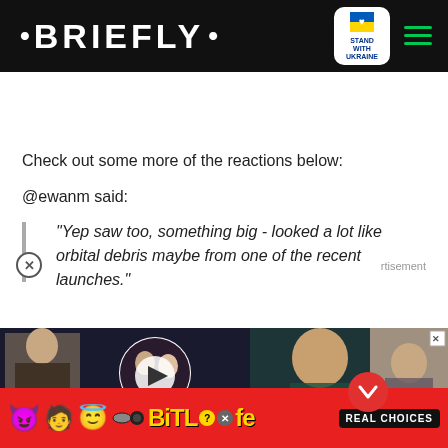• BRIEFLY •  [Stand with Ukraine badge] [hamburger menu]
Check out some more of the reactions below:
@ewanm said:
"Yep saw too, something big - looked a lot like orbital debris maybe from one of the recent launches."
[Figure (other): Video ad panel showing two people with text 'WAS THEIR INTIMACY THE PROBLEM?' in pink banner, with play button overlay and a red chevron down button]
[Figure (other): Right side advertisement showing a child looking down, with close X button]
[Figure (other): Bottom banner advertisement for BitLife app with devil, person, and angel emojis and text 'REAL CHOICES' on black background]